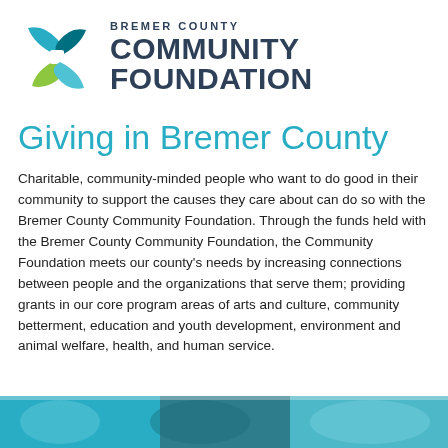[Figure (logo): Bremer County Community Foundation logo with colorful pinwheel icon and text]
Giving in Bremer County
Charitable, community-minded people who want to do good in their community to support the causes they care about can do so with the Bremer County Community Foundation. Through the funds held with the Bremer County Community Foundation, the Community Foundation meets our county's needs by increasing connections between people and the organizations that serve them; providing grants in our core program areas of arts and culture, community betterment, education and youth development, environment and animal welfare, health, and human service.
[Figure (photo): Photo strip at bottom showing people in community settings with teal/blue tones]